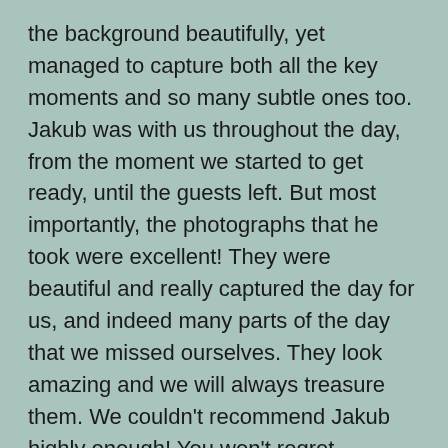the background beautifully, yet managed to capture both all the key moments and so many subtle ones too. Jakub was with us throughout the day, from the moment we started to get ready, until the guests left. But most importantly, the photographs that he took were excellent! They were beautiful and really captured the day for us, and indeed many parts of the day that we missed ourselves. They look amazing and we will always treasure them. We couldn't recommend Jakub highly enough! You won't regret choosing Jakub!
Colm & Irene